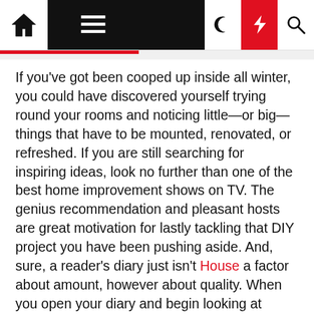Navigation bar with home, menu, dark mode, lightning, and search icons
If you've got been cooped up inside all winter, you could have discovered yourself trying round your rooms and noticing little—or big—things that have to be mounted, renovated, or refreshed. If you are still searching for inspiring ideas, look no further than one of the best home improvement shows on TV. The genius recommendation and pleasant hosts are great motivation for lastly tackling that DIY project you have been pushing aside. And, sure, a reader's diary just isn't House a factor about amount, however about quality. When you open your diary and begin looking at quotes , you instantly really need to learn. you need this for your academic career or generally you just need to read to learn. And, with all the brand new alternative routes to gain data , the guide still does a superb job of this task